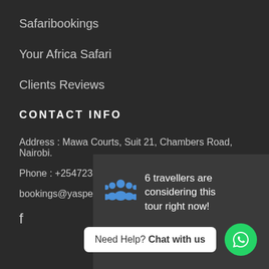Safaribookings
Your Africa Safari
Clients Reviews
CONTACT INFO
Address : Mawa Courts, Suit 21, Chambers Road, Nairobi.
Phone : +254723851297
bookings@yaspersafaris.com
[Figure (infographic): Overlay panel showing 6 travellers considering this tour right now, a chat bubble saying 'Need Help? Chat with us', and a WhatsApp green circle button]
f (Facebook icon)